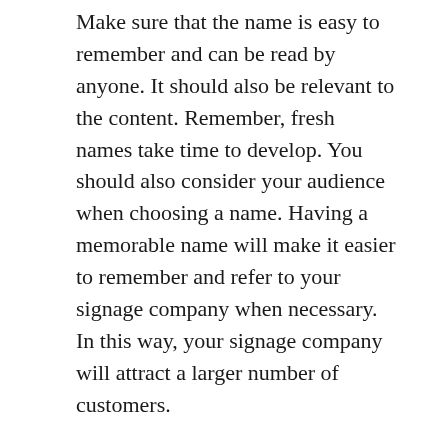Make sure that the name is easy to remember and can be read by anyone. It should also be relevant to the content. Remember, fresh names take time to develop. You should also consider your audience when choosing a name. Having a memorable name will make it easier to remember and refer to your signage company when necessary. In this way, your signage company will attract a larger number of customers.
The Best Signage Company should be able to provide customized solutions for all of your signage needs. If you want to create a unique sign, you should consider a monument signage. This type of signage is usually seen in the